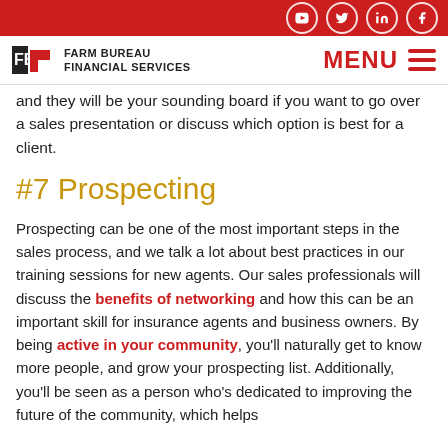Farm Bureau Financial Services — navigation bar with social icons and menu
and they will be your sounding board if you want to go over a sales presentation or discuss which option is best for a client.
#7 Prospecting
Prospecting can be one of the most important steps in the sales process, and we talk a lot about best practices in our training sessions for new agents. Our sales professionals will discuss the benefits of networking and how this can be an important skill for insurance agents and business owners. By being active in your community, you'll naturally get to know more people, and grow your prospecting list. Additionally, you'll be seen as a person who's dedicated to improving the future of the community, which helps